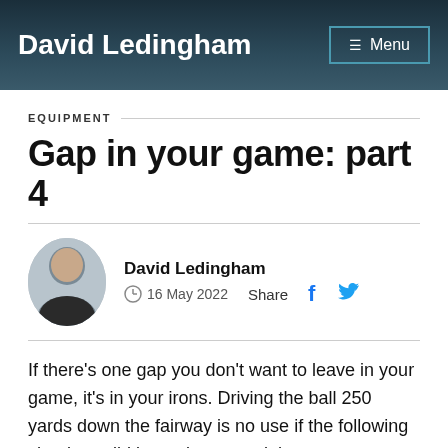David Ledingham | Menu
EQUIPMENT
Gap in your game: part 4
David Ledingham
16 May 2022
Share
If there's one gap you don't want to leave in your game, it's in your irons. Driving the ball 250 yards down the fairway is no use if the following shot is a wild iron miscue, and those one-putt finishes aren't